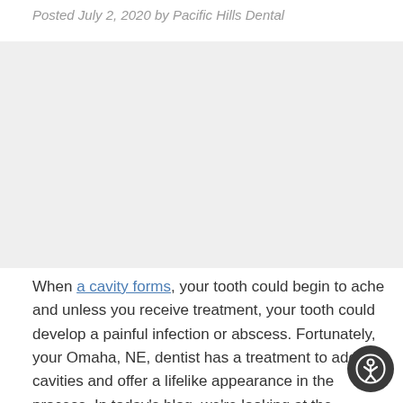Posted July 2, 2020 by Pacific Hills Dental
[Figure (photo): Dental/tooth colored filling related image (placeholder area)]
When a cavity forms, your tooth could begin to ache and unless you receive treatment, your tooth could develop a painful infection or abscess. Fortunately, your Omaha, NE, dentist has a treatment to address cavities and offer a lifelike appearance in the process. In today's blog, we're looking at the benefits of our tooth-colored resin fillings.